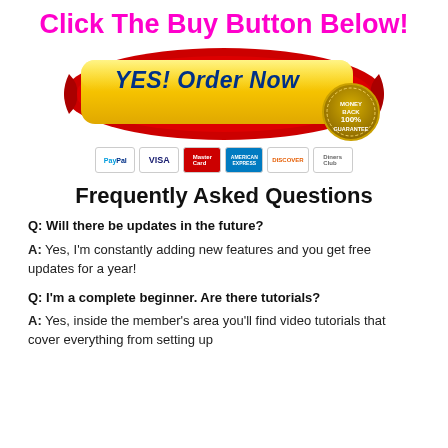Click The Buy Button Below!
[Figure (illustration): Yellow glossy 'YES! Order Now' button with red ribbon/swoosh decoration and a gold 100% Money Back Guarantee seal, with payment method icons below (PayPal, Visa, MasterCard, American Express, Discover, Diners Club)]
Frequently Asked Questions
Q: Will there be updates in the future?
A: Yes, I'm constantly adding new features and you get free updates for a year!
Q: I'm a complete beginner. Are there tutorials?
A: Yes, inside the member's area you'll find video tutorials that cover everything from setting up